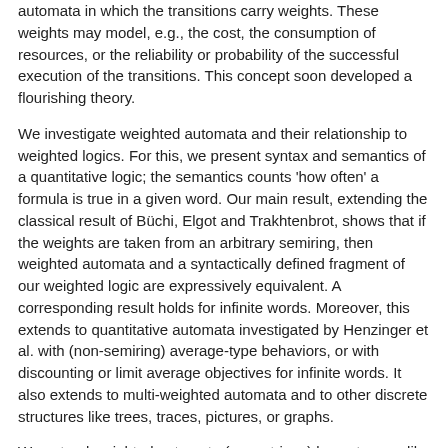automata in which the transitions carry weights. These weights may model, e.g., the cost, the consumption of resources, or the reliability or probability of the successful execution of the transitions. This concept soon developed a flourishing theory.
We investigate weighted automata and their relationship to weighted logics. For this, we present syntax and semantics of a quantitative logic; the semantics counts 'how often' a formula is true in a given word. Our main result, extending the classical result of Büchi, Elgot and Trakhtenbrot, shows that if the weights are taken from an arbitrary semiring, then weighted automata and a syntactically defined fragment of our weighted logic are expressively equivalent. A corresponding result holds for infinite words. Moreover, this extends to quantitative automata investigated by Henzinger et al. with (non-semiring) average-type behaviors, or with discounting or limit average objectives for infinite words. It also extends to multi-weighted automata and to other discrete structures like trees, traces, pictures, or graphs.
We extend weighted automata (over strings) by a storage, like a pushdown or stack, and define an extension of a weighted MSO-logic such that we again obtain a Büchi, Elgot and Trakhtenbrot result. In the extended weighted MSO-logic we allow ...